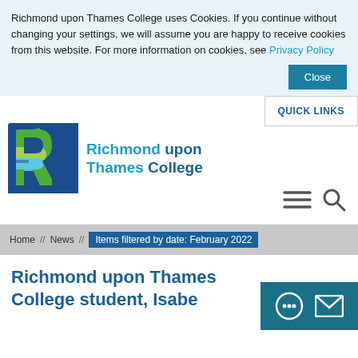Richmond upon Thames College uses Cookies. If you continue without changing your settings, we will assume you are happy to receive cookies from this website. For more information on cookies, see Privacy Policy
Close
[Figure (logo): Richmond upon Thames College logo with colourful R and text]
QUICK LINKS
[Figure (other): Hamburger menu and search icons]
Home // News // Items filtered by date: February 2022
Richmond upon Thames College student, Isabe...